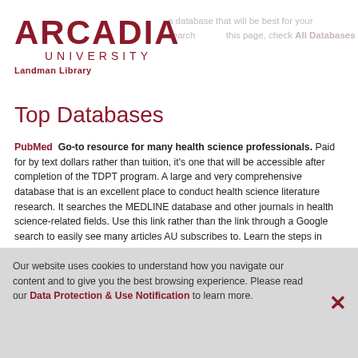[Figure (logo): Arcadia University logo with 'ARCADIA' in large bold serif text and 'UNIVERSITY' in smaller spaced text below, both in dark red/maroon color]
Landman Library
Top Databases
PubMed  Go-to resource for many health science professionals. Paid for by text dollars rather than tuition, it's one that will be accessible after completion of the TDPT program. A large and very comprehensive database that is an excellent place to conduct health science literature research. It searches the MEDLINE database and other journals in health science-related fields. Use this link rather than the link through a Google search to easily see many articles AU subscribes to. Learn the steps in Can't Find Full-Text? to help find anything else among AU's subscriptions that PubMed doesn't provide free access to.
Our website uses cookies to understand how you navigate our content and to give you the best browsing experience. Please read our Data Protection & Use Notification to learn more.